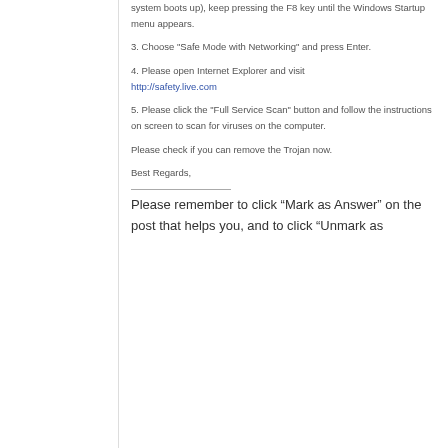system boots up), keep pressing the F8 key until the Windows Startup menu appears.
3. Choose "Safe Mode with Networking" and press Enter.
4. Please open Internet Explorer and visit http://safety.live.com
5. Please click the "Full Service Scan" button and follow the instructions on screen to scan for viruses on the computer.
Please check if you can remove the Trojan now.
Best Regards,
Please remember to click “Mark as Answer” on the post that helps you, and to click “Unmark as